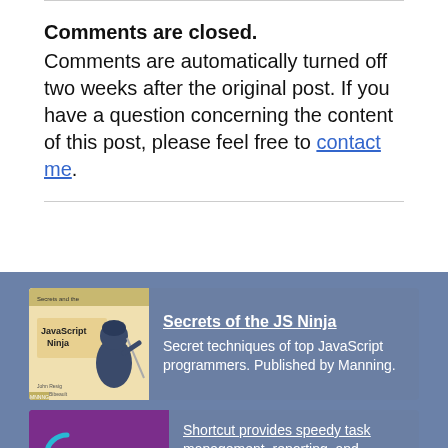Comments are closed.
Comments are automatically turned off two weeks after the original post. If you have a question concerning the content of this post, please feel free to contact me.
[Figure (illustration): Book cover for 'Secrets of the JS Ninja' showing a samurai/ninja illustration with JavaScript text, published by Manning.]
Secrets of the JS Ninja
Secret techniques of top JavaScript programmers. Published by Manning.
[Figure (logo): Shortcut app logo - purple background with 'S' icon and 'Shortcut' text in white and cyan.]
Shortcut provides speedy task management, reporting, and collaboration for developers. Try it free today.